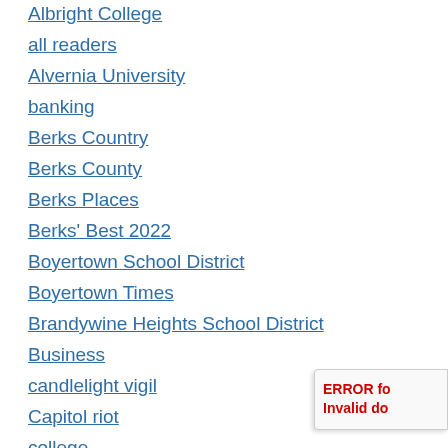Albright College
all readers
Alvernia University
banking
Berks Country
Berks County
Berks Places
Berks' Best 2022
Boyertown School District
Boyertown Times
Brandywine Heights School District
Business
candlelight vigil
Capitol riot
college
ERROR fo Invalid do